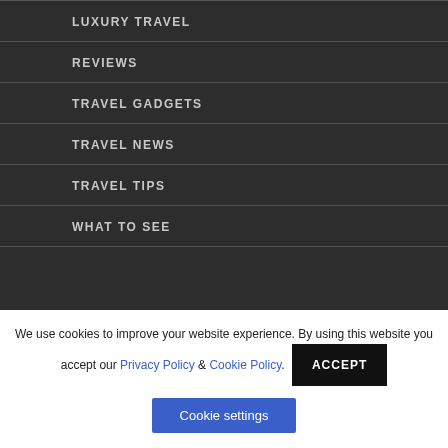LUXURY TRAVEL
REVIEWS
TRAVEL GADGETS
TRAVEL NEWS
TRAVEL TIPS
WHAT TO SEE
We use cookies to improve your website experience. By using this website you accept our Privacy Policy & Cookie Policy.
ACCEPT
Cookie settings